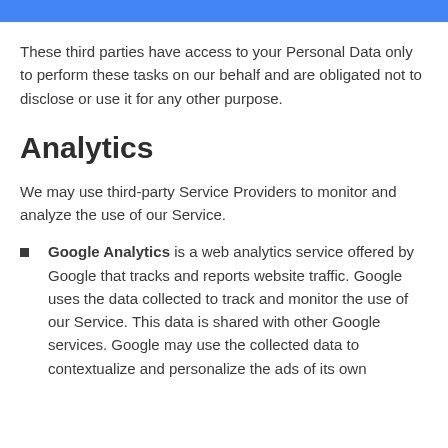These third parties have access to your Personal Data only to perform these tasks on our behalf and are obligated not to disclose or use it for any other purpose.
Analytics
We may use third-party Service Providers to monitor and analyze the use of our Service.
Google Analytics is a web analytics service offered by Google that tracks and reports website traffic. Google uses the data collected to track and monitor the use of our Service. This data is shared with other Google services. Google may use the collected data to contextualize and personalize the ads of its own